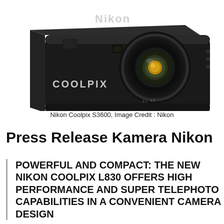[Figure (photo): Photograph of a black Nikon Coolpix S3600 compact digital camera, showing top and front face with lens extended, Nikon branding at top and COOLPIX text on the body.]
Nikon Coolpix S3600, Image Credit : Nikon
Press Release Kamera Nikon
POWERFUL AND COMPACT: THE NEW NIKON COOLPIX L830 OFFERS HIGH PERFORMANCE AND SUPER TELEPHOTO CAPABILITIES IN A CONVENIENT CAMERA DESIGN